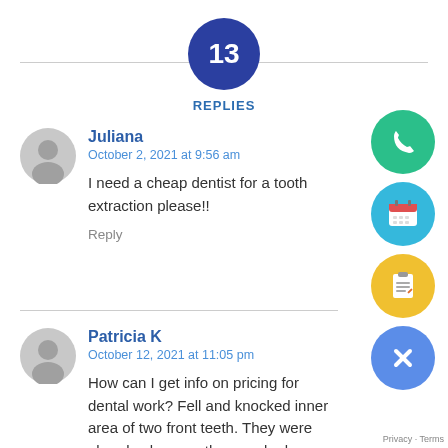13
REPLIES
Juliana
October 2, 2021 at 9:56 am
I need a cheap dentist for a tooth extraction please!!
Reply
Patricia K
October 12, 2021 at 11:05 pm
How can I get info on pricing for dental work? Fell and knocked inner area of two front teeth. They were already always rather crooked.